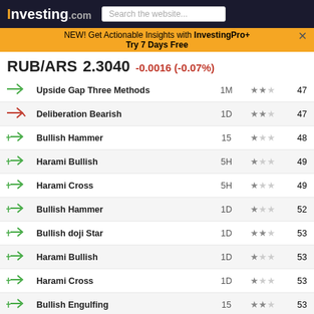Investing.com
NEW! Get Actionable Insights with InvestingPro+ Try 7 Days Free
RUB/ARS 2.3040 -0.0016 (-0.07%)
|  | Pattern | TF | Reliability | Candle |
| --- | --- | --- | --- | --- |
| ↗ | Upside Gap Three Methods | 1M | ★★☆☆ | 47 |
| ↘ | Deliberation Bearish | 1D | ★★☆☆ | 47 |
| ✓↗ | Bullish Hammer | 15 | ★☆☆☆ | 48 |
| ✓↗ | Harami Bullish | 5H | ★☆☆☆ | 49 |
| ✓↗ | Harami Cross | 5H | ★☆☆☆ | 49 |
| ✓↗ | Bullish Hammer | 1D | ★☆☆☆ | 52 |
| ✓↗ | Bullish doji Star | 1D | ★★☆☆ | 53 |
| ✓↗ | Harami Bullish | 1D | ★☆☆☆ | 53 |
| ✓↗ | Harami Cross | 1D | ★☆☆☆ | 53 |
| ✓↗ | Bullish Engulfing | 15 | ★★☆☆ | 53 |
| ↘ | Three Outside Down | 30 | ★★★☆ | 58 |
| ✓↗ | Inverted Hammer | 1H | ★☆☆☆ | 59 |
| ↘ | Engulfing Bearish | 30 | ★★☆☆ | 59 |
| ↘ | Doji Star Bearish | 5H | ★★☆☆ | 60 |